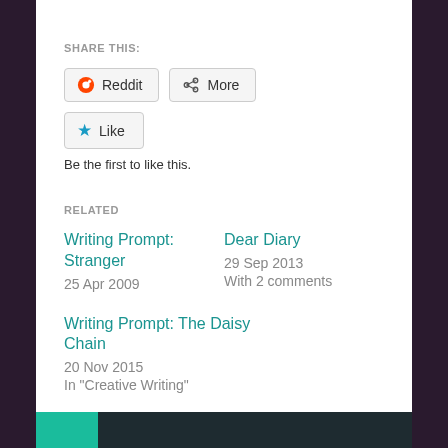SHARE THIS:
[Figure (screenshot): Reddit and More share buttons]
[Figure (screenshot): Like button with star icon]
Be the first to like this.
RELATED
Writing Prompt: Stranger
25 Apr 2009
Dear Diary
29 Sep 2013
With 2 comments
Writing Prompt: The Daisy Chain
20 Nov 2015
In "Creative Writing"